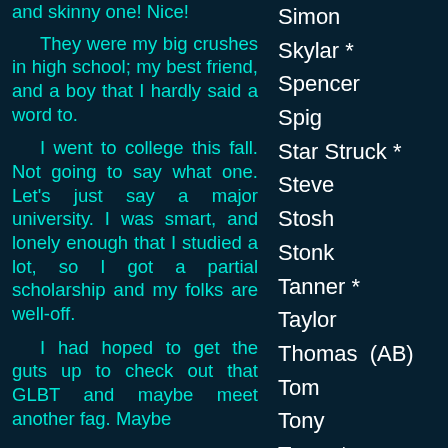and skinny one! Nice!

They were my big crushes in high school; my best friend, and a boy that I hardly said a word to.

I went to college this fall. Not going to say what one. Let's just say a major university. I was smart, and lonely enough that I studied a lot, so I got a partial scholarship and my folks are well-off.

I had hoped to get the guts up to check out that GLBT and maybe meet another fag. Maybe
Simon
Skylar *
Spencer
Spig
Star Struck *
Steve
Stosh
Stonk
Tanner *
Taylor
Thomas  (AB)
Tom
Tony
Trace *
Tracy N
Travis *